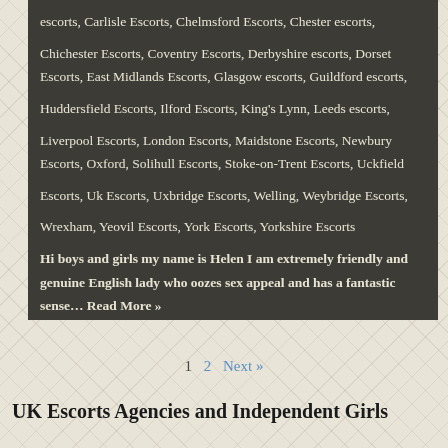escorts, Carlisle Escorts, Chelmsford Escorts, Chester escorts, Chichester Escorts, Coventry Escorts, Derbyshire escorts, Dorset Escorts, East Midlands Escorts, Glasgow escorts, Guildford escorts, Huddersfield Escorts, Ilford Escorts, King's Lynn, Leeds escorts, Liverpool Escorts, London Escorts, Maidstone Escorts, Newbury Escorts, Oxford, Solihull Escorts, Stoke-on-Trent Escorts, Uckfield Escorts, Uk Escorts, Uxbridge Escorts, Welling, Weybridge Escorts, Wrexham, Yeovil Escorts, York Escorts, Yorkshire Escorts
Hi boys and girls my name is Helen I am extremely friendly and genuine English lady who oozes sex appeal and has a fantastic sense… Read More »
1  2  Next »
UK Escorts Agencies and Independent Girls